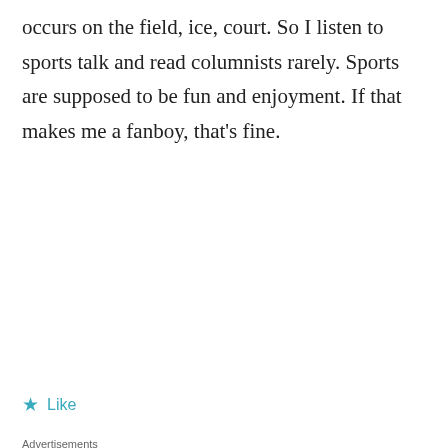occurs on the field, ice, court. So I listen to sports talk and read columnists rarely. Sports are supposed to be fun and enjoyment. If that makes me a fanboy, that's fine.
★ Like
Advertisements
[Figure (other): Advertisement banner with dark background. Text reads: 'Turn your blog into a money-making online course.' with a 'Learn More' button.]